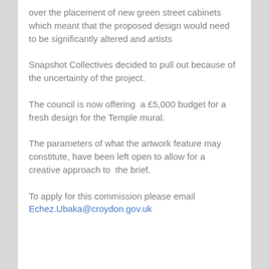over the placement of new green street cabinets which meant that the proposed design would need to be significantly altered and artists
Snapshot Collectives decided to pull out because of the uncertainty of the project.
The council is now offering  a £5,000 budget for a fresh design for the Temple mural.
The parameters of what the artwork feature may constitute, have been left open to allow for a creative approach to  the brief.
To apply for this commission please email Echez.Ubaka@croydon.gov.uk